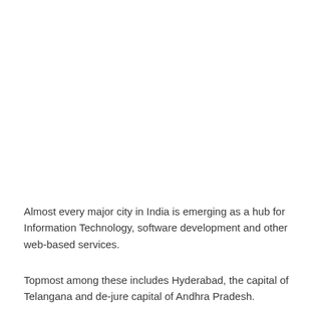Almost every major city in India is emerging as a hub for Information Technology, software development and other web-based services.
Topmost among these includes Hyderabad, the capital of Telangana and de-jure capital of Andhra Pradesh.